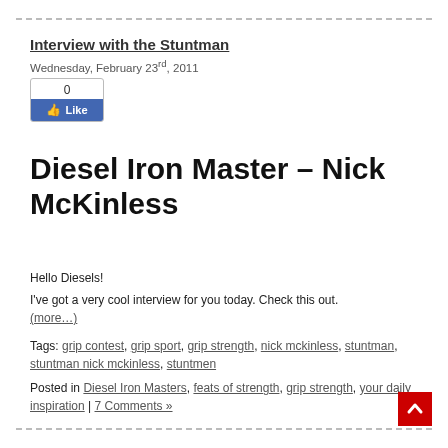Interview with the Stuntman
Wednesday, February 23rd, 2011
[Figure (other): Facebook Like button widget showing 0 likes]
Diesel Iron Master – Nick McKinless
Hello Diesels!
I've got a very cool interview for you today. Check this out. (more…)
Tags: grip contest, grip sport, grip strength, nick mckinless, stuntman, stuntman nick mckinless, stuntmen
Posted in Diesel Iron Masters, feats of strength, grip strength, your daily inspiration | 7 Comments »